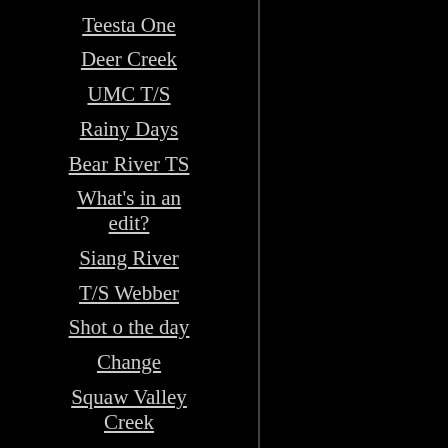Teesta One
Deer Creek
UMC T/S
Rainy Days
Bear River TS
What's in an edit?
Siang River
T/S Webber
Shot o the day
Change
Squaw Valley Creek